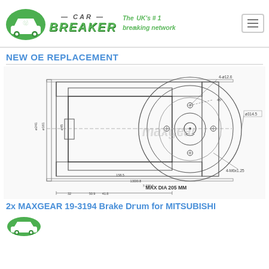[Figure (logo): Car Breaker website header with green car recycling logo, brand name 'CAR BREAKER', tagline 'The UK's #1 breaking network', and hamburger menu icon]
NEW OE REPLACEMENT
[Figure (engineering-diagram): Technical cross-section and front-view engineering drawing of a brake drum (MAXGEAR 19-3194) with dimensions including MAX DIA 205 MM, annotations such as 4-ø12.6, ø314.5, 4-M6x1.25, and various other dimensional measurements. Watermark reads 'maxgear'.]
2x MAXGEAR 19-3194 Brake Drum for MITSUBISHI